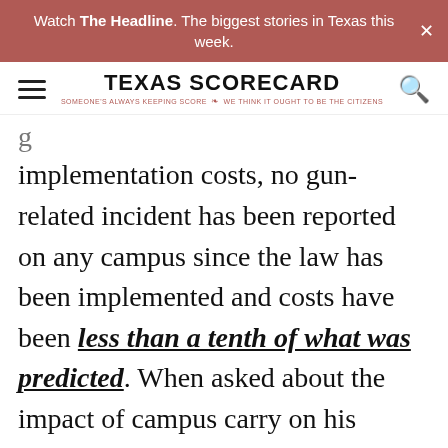Watch The Headline. The biggest stories in Texas this week.
[Figure (logo): Texas Scorecard logo with hamburger menu and search icon. Tagline: SOMEONE'S ALWAYS KEEPING SCORE — WE THINK IT OUGHT TO BE THE CITIZENS]
g
implementation costs, no gun-related incident has been reported on any campus since the law has been implemented and costs have been less than a tenth of what was predicted. When asked about the impact of campus carry on his campus, West Texas A&M administrator Mike Knox